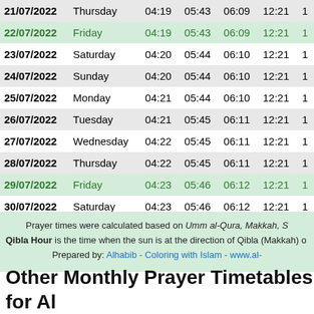| Date | Day | Col3 | Col4 | Col5 | Col6 | Col7 |
| --- | --- | --- | --- | --- | --- | --- |
| 21/07/2022 | Thursday | 04:19 | 05:43 | 06:09 | 12:21 | 1 |
| 22/07/2022 | Friday | 04:19 | 05:43 | 06:09 | 12:21 | 1 |
| 23/07/2022 | Saturday | 04:20 | 05:44 | 06:10 | 12:21 | 1 |
| 24/07/2022 | Sunday | 04:20 | 05:44 | 06:10 | 12:21 | 1 |
| 25/07/2022 | Monday | 04:21 | 05:44 | 06:10 | 12:21 | 1 |
| 26/07/2022 | Tuesday | 04:21 | 05:45 | 06:11 | 12:21 | 1 |
| 27/07/2022 | Wednesday | 04:22 | 05:45 | 06:11 | 12:21 | 1 |
| 28/07/2022 | Thursday | 04:22 | 05:45 | 06:11 | 12:21 | 1 |
| 29/07/2022 | Friday | 04:23 | 05:46 | 06:12 | 12:21 | 1 |
| 30/07/2022 | Saturday | 04:23 | 05:46 | 06:12 | 12:21 | 1 |
| 31/07/2022 | Sunday | 04:24 | 05:46 | 06:12 | 12:21 | 1 |
Prayer times were calculated based on Umm al-Qura, Makkah, S Qibla Hour is the time when the sun is at the direction of Qibla (Makkah) o Prepared by: Alhabib - Coloring with Islam - www.al-
Other Monthly Prayer Timetables for Al Ajaiz - Year 2022 AD